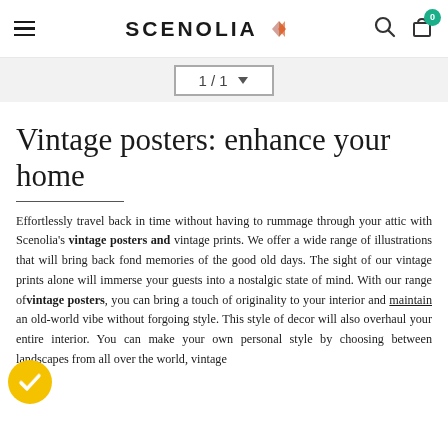SCENOLIA — navigation header with hamburger menu, logo, search icon, and cart (0 items)
[Figure (screenshot): Pagination control showing '1 / 1' with a dropdown arrow, inside a bordered box on a light grey background]
Vintage posters: enhance your home
Effortlessly travel back in time without having to rummage through your attic with Scenolia's vintage posters and vintage prints. We offer a wide range of illustrations that will bring back fond memories of the good old days. The sight of our vintage prints alone will immerse your guests into a nostalgic state of mind. With our range of vintage posters, you can bring a touch of originality to your interior and maintain an old-world vibe without forgoing style. This style of decor will also overhaul your entire interior. You can make your own personal style by choosing between landscapes from all over the world, vintage